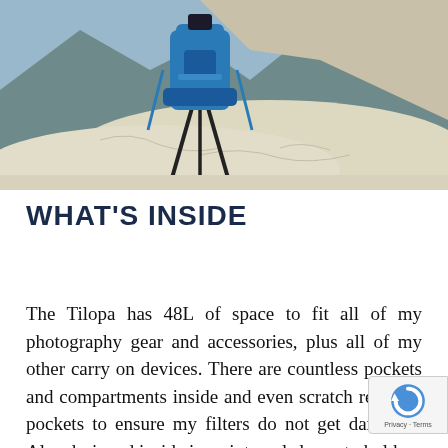[Figure (photo): A blue camera backpack with a tripod mounted on it, standing on a rocky white/cream colored natural rock formation with mountainous background and blue sky.]
WHAT'S INSIDE
The Tilopa has 48L of space to fit all of my photography gear and accessories, plus all of my other carry on devices. There are countless pockets and compartments inside and even scratch resistant pockets to ensure my filters do not get damaged. Also designed inside is an internal sleeve to hold